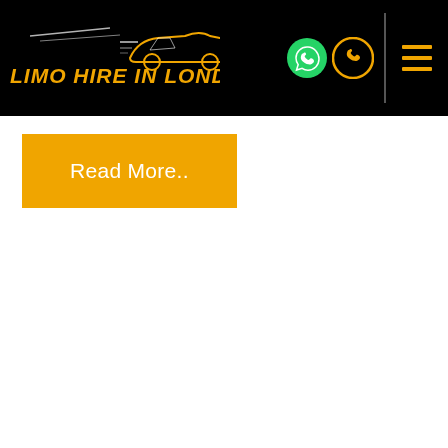LIMO HIRE IN LONDON
Read More..